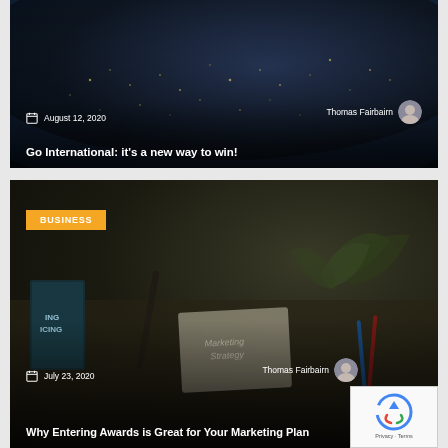[Figure (photo): Blog card with dark aerial/space photo background showing city lights from above]
August 12, 2020
Thomas Fairbairn
Go International: it's a new way to win!
[Figure (photo): Blog card with dark photo of marketing strategy desk scene with books, plant, papers]
BUSINESS
July 23, 2020
Thomas Fairbairn
Why Entering Awards is Great for Your Marketing Plan